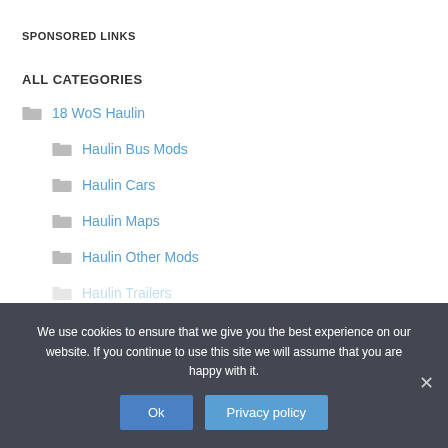SPONSORED LINKS
ALL CATEGORIES
18 WoS Haulin
Haulin Bus Mods
Haulin Cars
Haulin Maps
Haulin Other Mods
Haulin Trailers
Haulin Trucks
We use cookies to ensure that we give you the best experience on our website. If you continue to use this site we will assume that you are happy with it.
Ok
Privacy policy